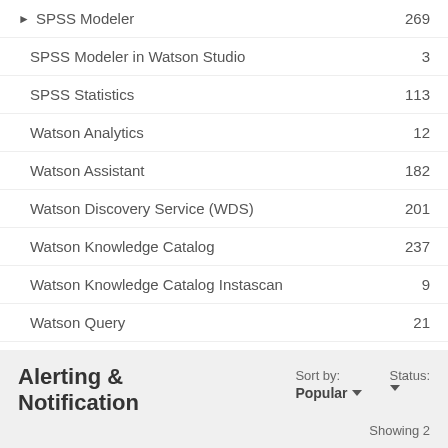SPSS Modeler 269
SPSS Modeler in Watson Studio 3
SPSS Statistics 113
Watson Analytics 12
Watson Assistant 182
Watson Discovery Service (WDS) 201
Watson Knowledge Catalog 237
Watson Knowledge Catalog Instascan 9
Watson Query 21
Alerting & Notification
Sort by: Popular ▼   Status: ▼
Showing 2
2   Detail exact trigger for missing or late